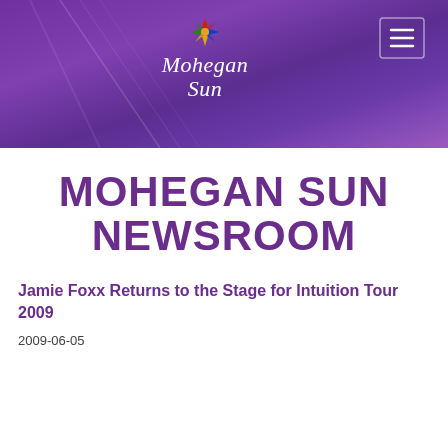[Figure (logo): Mohegan Sun logo with starburst icon and stylized cursive text on purple gradient banner header]
MOHEGAN SUN NEWSROOM
Jamie Foxx Returns to the Stage for Intuition Tour 2009
2009-06-05